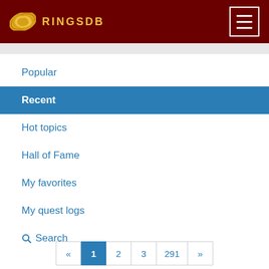RINGSDB
Popular
Recent
Hot topics
Hall of Fame
My favorites
My quest logs
Search
« 1 2 3 291 »